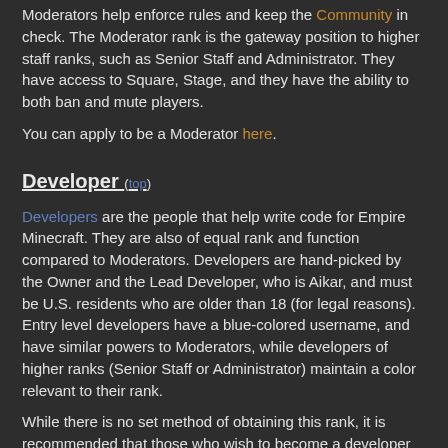Moderators help enforce rules and keep the Community in check. The Moderator rank is the gateway position to higher staff ranks, such as Senior Staff and Administrator. They have access to Square, Stage, and they have the ability to both ban and mute players.
You can apply to be a Moderator here.
Developer (top)
Developers are the people that help write code for Empire Minecraft. They are also of equal rank and function compared to Moderators. Developers are hand-picked by the Owner and the Lead Developer, who is Aikar, and must be U.S. residents who are older than 18 (for legal reasons). Entry level developers have a blue-colored username, and have similar powers to Moderators, while developers of higher ranks (Senior Staff or Administrator) maintain a color relevant to their rank.
While there is no set method of obtaining this rank, it is recommended that those who wish to become a developer on EMC apply to be a staff member for the possibility of being accepted.
Senior Staff (top)
Senior Staff members are staff members who have extended responsibilities and powers, such as Creative mode access, WorldEdit access, and more. They also offer Senior Staff Services.